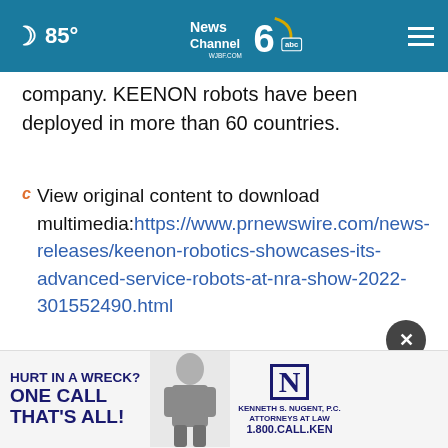85° News Channel 6 abc WJBF.COM
company. KEENON robots have been deployed in more than 60 countries.
View original content to download multimedia:https://www.prnewswire.com/news-releases/keenon-robotics-showcases-its-advanced-service-robots-at-nra-show-2022-301552490.html
SOURCE Keenon Robotics Co., Ltd.
[Figure (infographic): Advertisement banner: HURT IN A WRECK? ONE CALL THAT'S ALL! Kenneth S. Nugent, P.C. Attorneys at Law 1.800.CALL.KEN]